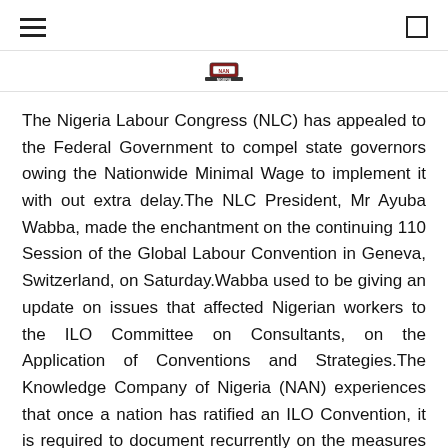☰  🔲
[Figure (logo): NLC/NAN logo emblem centered at top of page]
The Nigeria Labour Congress (NLC) has appealed to the Federal Government to compel state governors owing the Nationwide Minimal Wage to implement it with out extra delay.The NLC President, Mr Ayuba Wabba, made the enchantment on the continuing 110 Session of the Global Labour Convention in Geneva, Switzerland, on Saturday.Wabba used to be giving an update on issues that affected Nigerian workers to the ILO Committee on Consultants, on the Application of Conventions and Strategies.The Knowledge Company of Nigeria (NAN) experiences that once a nation has ratified an ILO Convention, it is required to document recurrently on the measures it has taken for its implementation.Wabba acknowledged four states out of the 36 have but to launch or implement the Nationwide Minimal